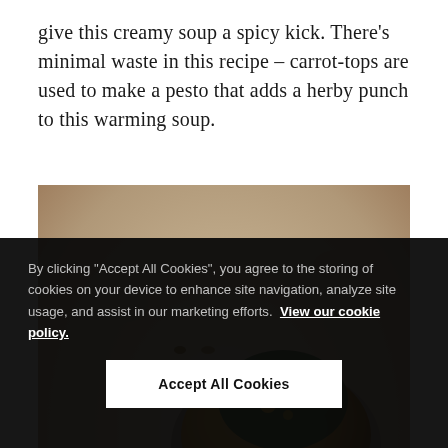give this creamy soup a spicy kick. There’s minimal waste in this recipe – carrot-tops are used to make a pesto that adds a herby punch to this warming soup.
[Figure (photo): Overhead view of two rustic ceramic bowls filled with golden-orange creamy carrot soup, topped with dark green herb pesto garnish and nuts, on a light stone textured surface with wooden spoons]
By clicking “Accept All Cookies”, you agree to the storing of cookies on your device to enhance site navigation, analyze site usage, and assist in our marketing efforts. View our cookie policy.
Accept All Cookies